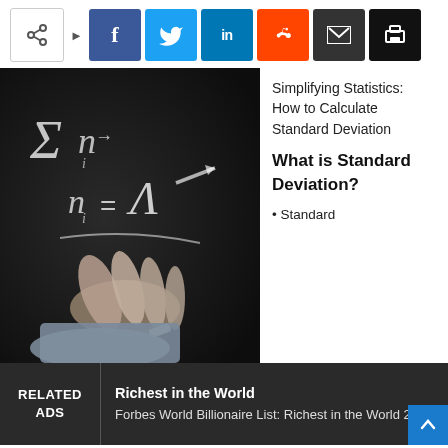[Figure (screenshot): Social media share bar with icons for share (generic), Facebook, Twitter, LinkedIn, Reddit, email, and print]
[Figure (photo): Person writing mathematical equations with chalk on a blackboard, including summation and delta symbols]
Simplifying Statistics: How to Calculate Standard Deviation
What is Standard Deviation?
Standard
RELATED ADS
Richest in the World
Forbes World Billionaire List: Richest in the World 2021